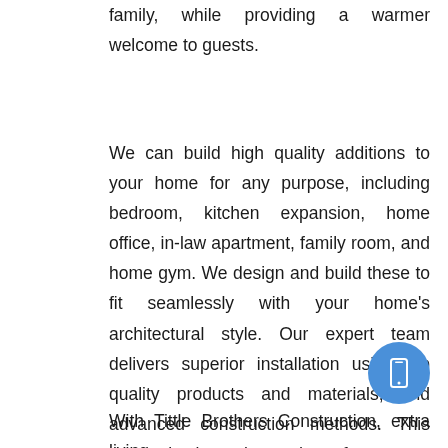family, while providing a warmer welcome to guests.
We can build high quality additions to your home for any purpose, including bedroom, kitchen expansion, home office, in-law apartment, family room, and home gym. We design and build these to fit seamlessly with your home’s architectural style. Our expert team delivers superior installation using top quality products and materials, and advanced construction methods. This means lasting value and comfort to your home.
[Figure (other): Blue circular button with a smartphone/mobile phone icon]
With Tittle Brothers Construction, extra living